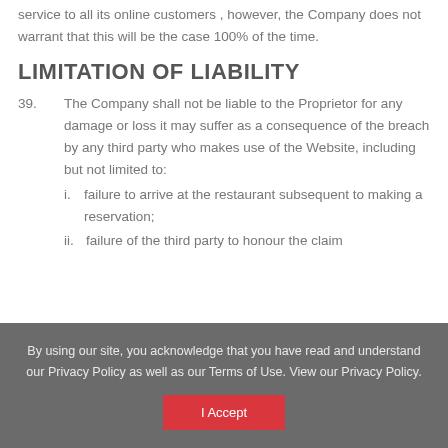service to all its online customers , however, the Company does not warrant that this will be the case 100% of the time.
LIMITATION OF LIABILITY
39. The Company shall not be liable to the Proprietor for any damage or loss it may suffer as a consequence of the breach by any third party who makes use of the Website, including but not limited to:
i. failure to arrive at the restaurant subsequent to making a reservation;
ii. failure of the third party to honour the claim...
By using our site, you acknowledge that you have read and understand our Privacy Policy as well as our Terms of Use. View our Privacy Policy.
I Accept